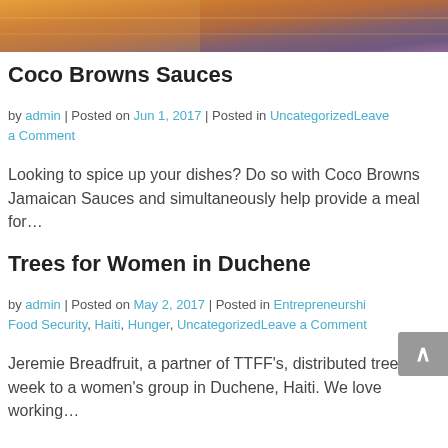[Figure (photo): Decorative top image with warm orange and purple tones, possibly food-related]
Coco Browns Sauces
by admin | Posted on Jun 1, 2017 | Posted in UncategorizedLeave a Comment
Looking to spice up your dishes? Do so with Coco Browns Jamaican Sauces and simultaneously help provide a meal for…
Trees for Women in Duchene
by admin | Posted on May 2, 2017 | Posted in Entrepreneurship, Food Security, Haiti, Hunger, UncategorizedLeave a Comment
Jeremie Breadfruit, a partner of TTFF's, distributed trees this week to a women's group in Duchene, Haiti. We love working…